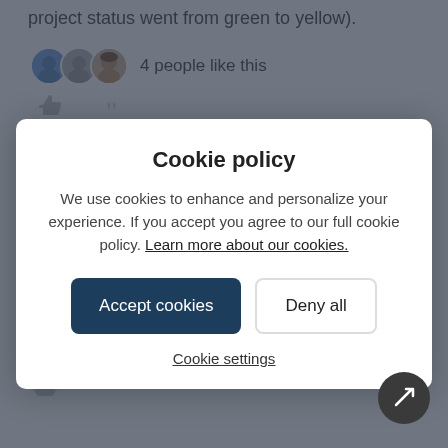project status went from green to yellow).
4 people like this
[Figure (screenshot): Three overlapping user avatars (like profile pictures)]
blynn_buckley  6 years ago
Sidhu, in our case we want to push Chatter ourselves via a manual @ mention, as opposed to a Gainsight CTA message (which is directed to the CSM).
1 person likes this
Cookie policy
We use cookies to enhance and personalize your experience. If you accept you agree to our full cookie policy. Learn more about our cookies.
Accept cookies  Deny all
Cookie settings